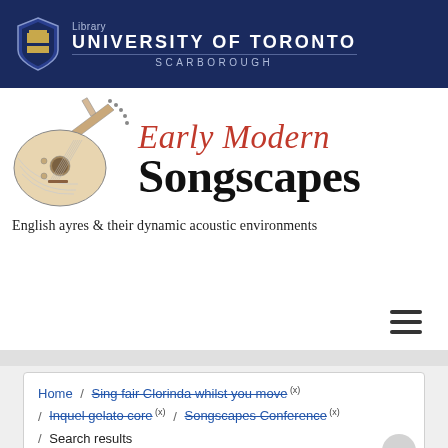Library UNIVERSITY OF TORONTO SCARBOROUGH
[Figure (logo): Early Modern Songscapes logo with lute illustration, red italic 'Early Modern' text, black 'Songscapes' text, and subtitle 'English ayres & their dynamic acoustic environments']
Home / Sing fair Clorinda whilst you move (x) / Inquel gelato core (x) / Songscapes Conference (x) / Search results